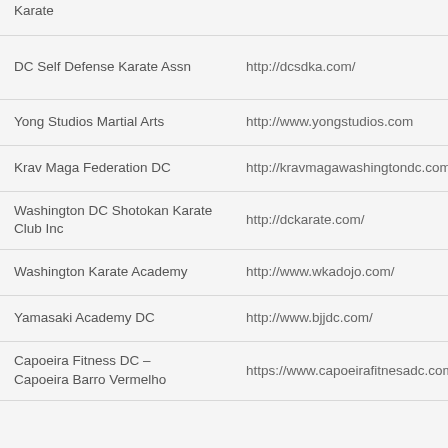| Organization | URL |
| --- | --- |
| Karate |  |
| DC Self Defense Karate Assn | http://dcsdka.com/ |
| Yong Studios Martial Arts | http://www.yongstudios.com |
| Krav Maga Federation DC | http://kravmagawashingtondc.com/ |
| Washington DC Shotokan Karate Club Inc | http://dckarate.com/ |
| Washington Karate Academy | http://www.wkadojo.com/ |
| Yamasaki Academy DC | http://www.bjjdc.com/ |
| Capoeira Fitness DC – Capoeira Barro Vermelho | https://www.capoeirafitnesadc.com/ |